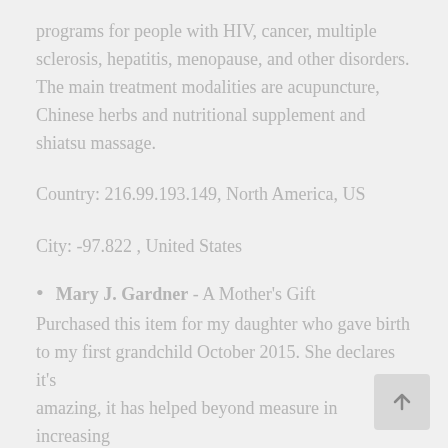programs for people with HIV, cancer, multiple sclerosis, hepatitis, menopause, and other disorders. The main treatment modalities are acupuncture, Chinese herbs and nutritional supplement and shiatsu massage.
Country: 216.99.193.149, North America, US
City: -97.822 , United States
Mary J. Gardner - A Mother's Gift
Purchased this item for my daughter who gave birth to my first grandchild October 2015. She declares it's amazing, it has helped beyond measure in increasing her milk production. A keeper for sure, will order again. Thanks